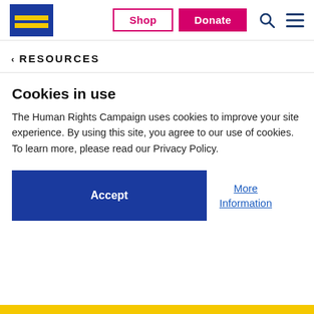HRC Logo | Shop | Donate | Search | Menu
‹ RESOURCES
Cookies in use
The Human Rights Campaign uses cookies to improve your site experience. By using this site, you agree to our use of cookies. To learn more, please read our Privacy Policy.
Accept | More Information